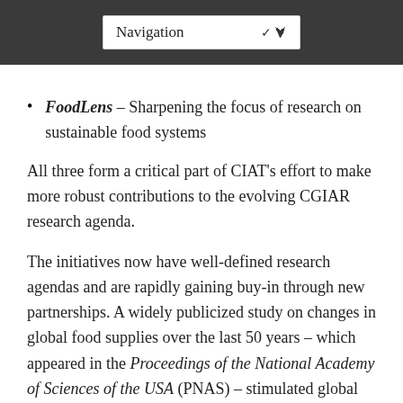Navigation
FoodLens – Sharpening the focus of research on sustainable food systems
All three form a critical part of CIAT's effort to make more robust contributions to the evolving CGIAR research agenda.
The initiatives now have well-defined research agendas and are rapidly gaining buy-in through new partnerships. A widely publicized study on changes in global food supplies over the last 50 years – which appeared in the Proceedings of the National Academy of Sciences of the USA (PNAS) – stimulated global interest in our perspectives on food systems. Sizable grants have already